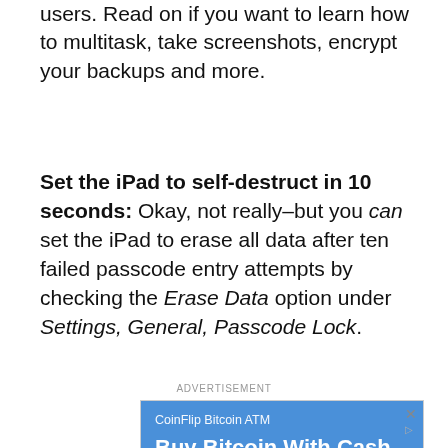users. Read on if you want to learn how to multitask, take screenshots, encrypt your backups and more.
Set the iPad to self-destruct in 10 seconds: Okay, not really–but you can set the iPad to erase all data after ten failed passcode entry attempts by checking the Erase Data option under Settings, General, Passcode Lock.
ADVERTISEMENT
[Figure (screenshot): CoinFlip Bitcoin ATM advertisement showing 'Buy Bitcoin With Cash' with '3,700+ Bitcoin ATM Locations Nationwide! Find Yours Today.' text on blue background, with a map showing Haymarket location below.]